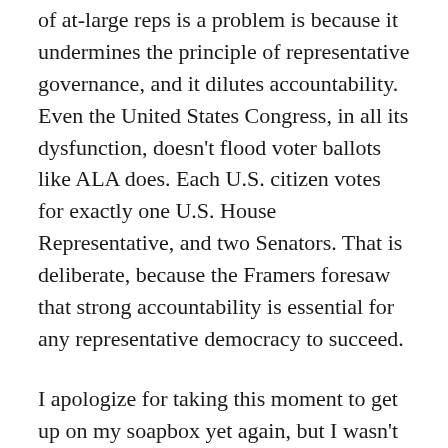of at-large reps is a problem is because it undermines the principle of representative governance, and it dilutes accountability. Even the United States Congress, in all its dysfunction, doesn't flood voter ballots like ALA does. Each U.S. citizen votes for exactly one U.S. House Representative, and two Senators. That is deliberate, because the Framers foresaw that strong accountability is essential for any representative democracy to succeed.
I apologize for taking this moment to get up on my soapbox yet again, but I wasn't sure how closely you have been following the evolution of this proposal, so I wanted to bring you up to date where it is right now.
I hope you will give these thoughts some consideration. I only want what is best for ALA. I think we all share in that goal. All I ask is that this issue ultimately be given a